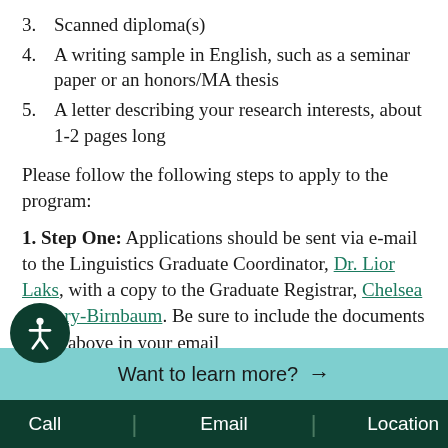3. Scanned diploma(s)
4. A writing sample in English, such as a seminar paper or an honors/MA thesis
5. A letter describing your research interests, about 1-2 pages long
Please follow the following steps to apply to the program:
1. Step One: Applications should be sent via e-mail to the Linguistics Graduate Coordinator, Dr. Lior Laks, with a copy to the Graduate Registrar, Chelsea Mosery-Birnbaum. Be sure to include the documents listed above in your email
Want to learn more? →
Call | Email | Location